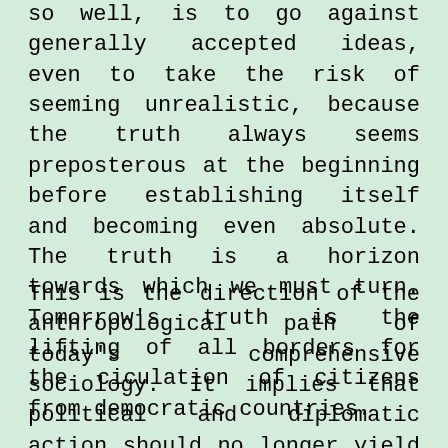so well, is to go against generally accepted ideas, even to take the risk of seeming unrealistic, because the truth always seems preposterous at the beginning before establishing itself and becoming even absolute. The truth is a horizon towards which we must turn. Tomorrow's truth is the lifting of all borders for the ciculation of citizens from democratic countries.
This is the direction of the anthropological path of today's comprehensive sociology. It implies that political and diplomatic action should no longer yield to subjectivity, and should - without a beneficial reaction - comply with objective intimation, even to the extent of surprising or causing laughter; but then laughter will certainly not be «Voltaire's laugh» and such reproving astonishment will not at all pertain to the necessary phenomenological injunction inherent